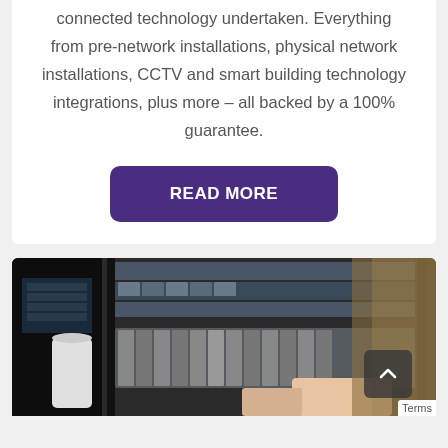connected technology undertaken. Everything from pre-network installations, physical network installations, CCTV and smart building technology integrations, plus more – all backed by a 100% guarantee.
READ MORE
[Figure (photo): A person working with server rack equipment, pulling out a storage drive tray from a rack-mounted server, with additional rack-mounted hardware visible in a data center environment.]